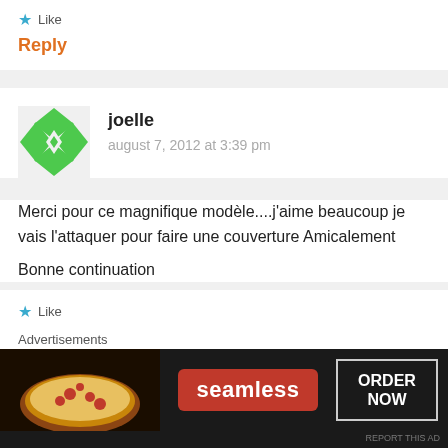★ Like
Reply
[Figure (illustration): Green geometric avatar icon for user joelle]
joelle
august 7, 2012 at 3:39 pm
Merci pour ce magnifique modèle....j'aime beaucoup je vais l'attaquer pour faire une couverture Amicalement
Bonne continuation
★ Like
Reply
[Figure (screenshot): Seamless food delivery advertisement banner with pizza image, seamless logo in red, and ORDER NOW button]